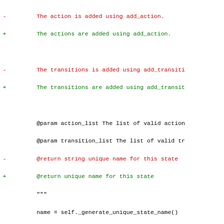- The action is added using add_action.
+ The actions are added using add_action.

- The transitions is added using add_transition
+ The transitions are added using add_transition

  @param action_list The list of valid action
  @param transition_list The list of valid tr
- @return string unique name for this state
+ @return unique name for this state
  """
  name = self._generate_unique_state_name()

@@ -162,47 +167,155 @@ class Tutorial(object):
        pointed to this one to the next state and r
        unreachable states recursively.

+       All but the INIT and END states can be dele
+
        @param state_name The name of the state to
+       @raise StateDeletionError when trying to de
        """
        pass

-   def get_actions(self, state_name):
+   def get_action_dict(self, state_name=None):
        """
+       Returns a dictionary of all actions for a s
+       If no state_name is provided, returns an ac
+       containing actions for all states